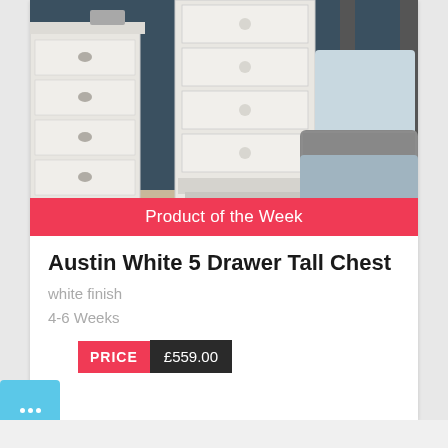[Figure (photo): Bedroom scene showing a white tall chest of drawers with multiple drawers, alongside a matching white dresser on the left and a bed with grey and blue bedding on the right, against a dark teal wall.]
Product of the Week
Austin White 5 Drawer Tall Chest
white finish
4-6 Weeks
PRICE £559.00